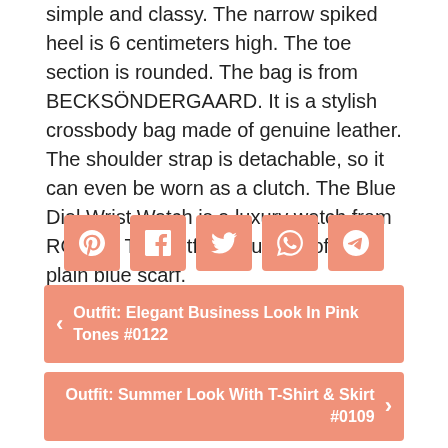simple and classy. The narrow spiked heel is 6 centimeters high. The toe section is rounded. The bag is from BECKSÖNDERGAARD. It is a stylish crossbody bag made of genuine leather. The shoulder strap is detachable, so it can even be worn as a clutch. The Blue Dial Wrist Watch is a luxury watch from ROLEX. The outfit is rounded off by a plain blue scarf.
[Figure (infographic): Social share buttons: Pinterest, Facebook, Twitter, WhatsApp, Telegram]
< Outfit: Elegant Business Look In Pink Tones #0122
Outfit: Summer Look With T-Shirt & Skirt #0109 >
If you buy a product via a link marked with (*), we may receive a small commission from our partner shops (e.g. Amazon.co.uk) **